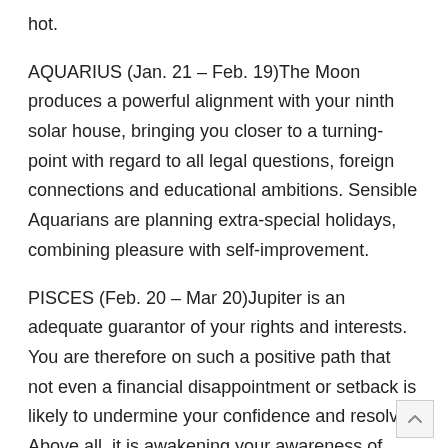hot.
AQUARIUS (Jan. 21 – Feb. 19)The Moon produces a powerful alignment with your ninth solar house, bringing you closer to a turning-point with regard to all legal questions, foreign connections and educational ambitions. Sensible Aquarians are planning extra-special holidays, combining pleasure with self-improvement.
PISCES (Feb. 20 – Mar 20)Jupiter is an adequate guarantor of your rights and interests. You are therefore on such a positive path that not even a financial disappointment or setback is likely to undermine your confidence and resolve. Above all, it is awakening your awareness of spiritual dimensions.